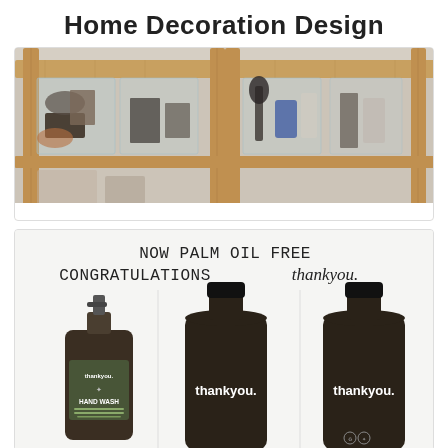Home Decoration Design
[Figure (photo): Bamboo shelf unit with clear acrylic organizer bins containing various household items like brushes, cups, and accessories]
[Figure (photo): Three amber/dark brown thankyou. brand bottles (hand wash and body products) displayed on a light grey background with text 'NOW PALM OIL FREE CONGRATULATIONS thankyou.']